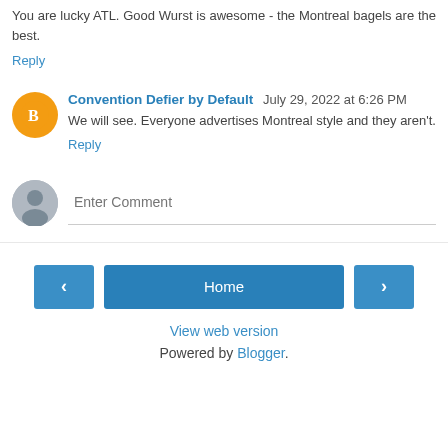You are lucky ATL. Good Wurst is awesome - the Montreal bagels are the best.
Reply
Convention Defier by Default  July 29, 2022 at 6:26 PM
We will see. Everyone advertises Montreal style and they aren't.
Reply
[Figure (other): Comment input area with gray user avatar and 'Enter Comment' placeholder text field]
[Figure (other): Navigation buttons: left arrow, Home center button, right arrow]
View web version
Powered by Blogger.